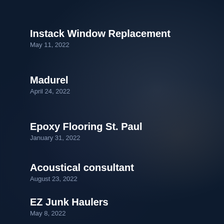Instack Window Replacement
May 11, 2022
Madurel
April 24, 2022
Epoxy Flooring St. Paul
January 31, 2022
Acoustical consultant
August 23, 2022
EZ Junk Haulers
May 8, 2022